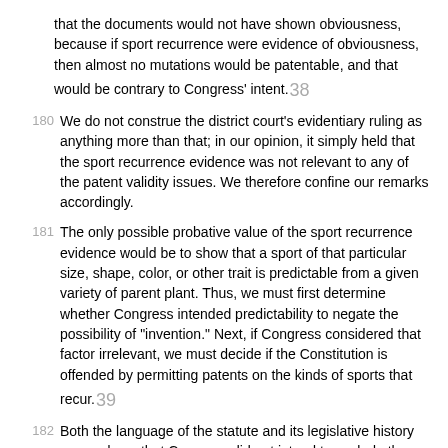that the documents would not have shown obviousness, because if sport recurrence were evidence of obviousness, then almost no mutations would be patentable, and that would be contrary to Congress' intent.38
180 We do not construe the district court's evidentiary ruling as anything more than that; in our opinion, it simply held that the sport recurrence evidence was not relevant to any of the patent validity issues. We therefore confine our remarks accordingly.
181 The only possible probative value of the sport recurrence evidence would be to show that a sport of that particular size, shape, color, or other trait is predictable from a given variety of parent plant. Thus, we must first determine whether Congress intended predictability to negate the possibility of "invention." Next, if Congress considered that factor irrelevant, we must decide if the Constitution is offended by permitting patents on the kinds of sports that recur.39
182 Both the language of the statute and its legislative history persuade us that Congress did not intend to exclude the kind of mutation that might recur from the Act's protection. Instead, both Senate Report 315, 71st Cong., 2d Sess. (1930), on the original bill, and Senate